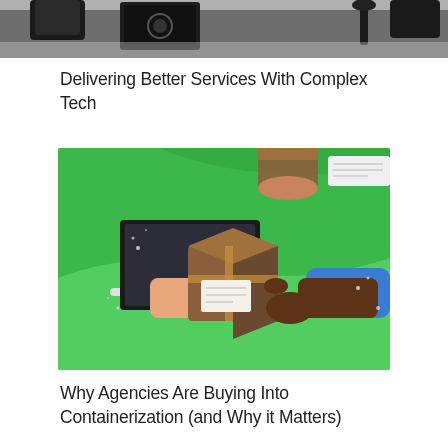[Figure (photo): Partial top view of a dark office workspace with chairs and equipment, cropped at the top of the page]
Delivering Better Services With Complex Tech
[Figure (illustration): Colorful illustration on a green background showing two hands exchanging a brown cardboard box through a laptop screen, symbolizing e-commerce or digital delivery]
Why Agencies Are Buying Into Containerization (and Why it Matters)